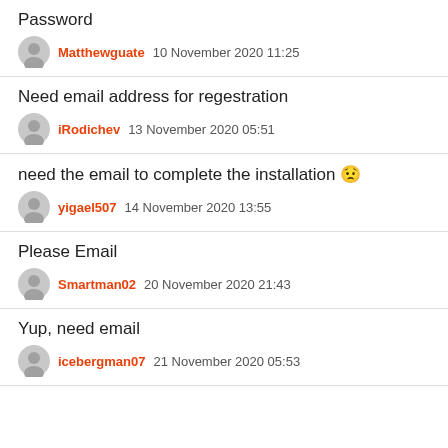Password
Matthewguate   10 November 2020 11:25
Need email address for regestration
iRodichev   13 November 2020 05:51
need the email to complete the installation 😟
yigael507   14 November 2020 13:55
Please Email
Smartman02   20 November 2020 21:43
Yup, need email
icebergman07   21 November 2020 05:53